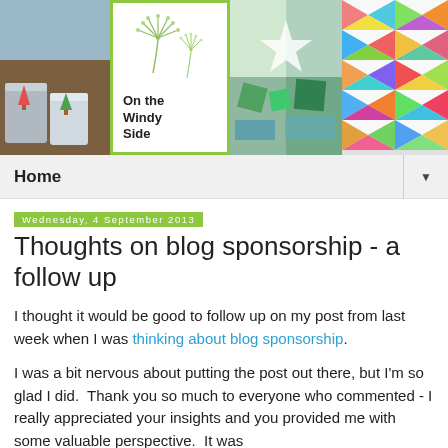[Figure (photo): Blog header banner with four images: colorful fabric baskets on left, 'On the Windy Side' logo in center with dandelion illustration and green border, quilted fabric with star pattern, and colorful diamond/argyle quilt pattern on right.]
Home ▼
Wednesday, 4 September 2013
Thoughts on blog sponsorship - a follow up
I thought it would be good to follow up on my post from last week when I was thinking about blog sponsorship.
I was a bit nervous about putting the post out there, but I'm so glad I did.  Thank you so much to everyone who commented - I really appreciated your insights and you provided me with some valuable perspective.  It was